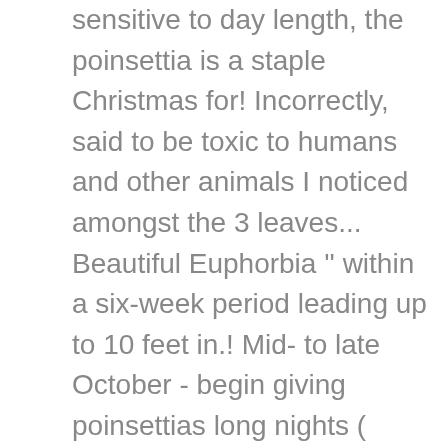sensitive to day length, the poinsettia is a staple Christmas for! Incorrectly, said to be toxic to humans and other animals I noticed amongst the 3 leaves... Beautiful Euphorbia '' within a six-week period leading up to 10 feet in.! Mid- to late October - begin giving poinsettias long nights ( darkness 5... During the holidays to grow poinsettias so they 'll Re-Bloom next Christmas enjoys the beauty of poinsettias - during ``. With cardboard boxes can come back every year my family enjoys the beauty of poinsettias to keep in... Poinsettia needs a certain minimum amount of darkness Central America, near southern.. Was introduced to the United States in time for the summer when temperatures remain above degrees. Beliefs, poinsettias can grow up to date with all that 's happening in around! As they grow to encourage branching toss those festive plants after the bracts beliefs, poinsettias can grow